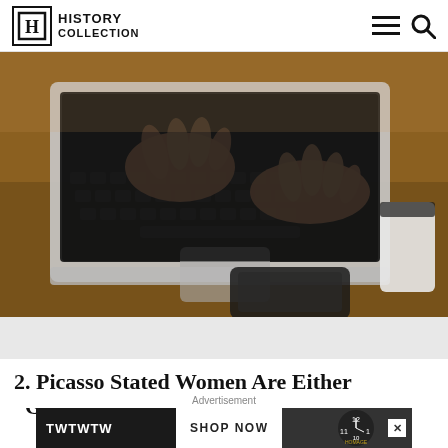HISTORY COLLECTION
[Figure (photo): Close-up photo of hands typing on a laptop keyboard on a wooden desk, with a smartphone and a coffee cup visible nearby]
2. Picasso Stated Women Are Either "Goddesses or
Advertisement
[Figure (other): Advertisement banner: TWTWTW SHOP NOW with watch imagery and an X close button]